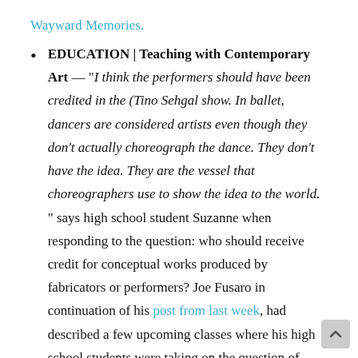Wayward Memories.
EDUCATION | Teaching with Contemporary Art — "I think the performers should have been credited in the (Tino Sehgal show. In ballet, dancers are considered artists even though they don't actually choreograph the dance. They don't have the idea. They are the vessel that choreographers use to show the idea to the world. " says high school student Suzanne when responding to the question: who should receive credit for conceptual works produced by fabricators or performers? Joe Fusaro in continuation of his post from last week, had described a few upcoming classes where his high school students were taking on the question of whether or not an idea can be considered a work of art, even if an artist never actually touches the object